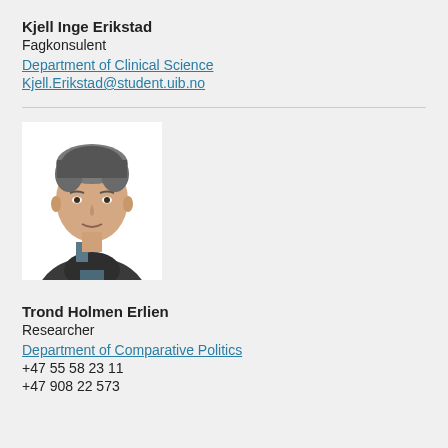Kjell Inge Erikstad
Fagkonsulent
Department of Clinical Science
Kjell.Erikstad@student.uib.no
[Figure (photo): Portrait photo of a man with grey-streaked hair wearing a dark jacket, smiling slightly, against a white background.]
Trond Holmen Erlien
Researcher
Department of Comparative Politics
+47 55 58 23 11
+47 908 22 573